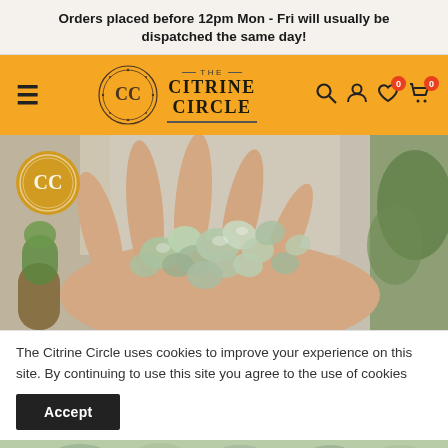Orders placed before 12pm Mon - Fri will usually be dispatched the same day!
[Figure (logo): The Citrine Circle logo with navigation bar on orange/amber background, featuring hamburger menu icon, circular CC logo, brand name, and nav icons for search, account, wishlist (0), and cart (0)]
[Figure (photo): A hand holding multiple small green/teal tumbled crystals or gemstones, with a cactus and plant in the background. The Citrine Circle CC watermark is overlaid top-left.]
The Citrine Circle uses cookies to improve your experience on this site. By continuing to use this site you agree to the use of cookies
Accept
[Figure (photo): Partial view of green crystals at the bottom of the page (cropped).]